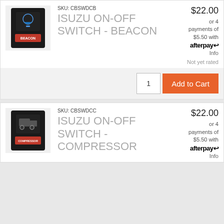[Figure (photo): Black Isuzu on-off switch with beacon label and blue LED indicator light]
SKU: CBSWDCB
ISUZU ON-OFF SWITCH - BEACON
$22.00
or 4 payments of $5.50 with afterpay Info
Not yet rated
1
Add to Cart
[Figure (photo): Black Isuzu on-off switch with compressor label and red indicator]
SKU: CBSWDCC
ISUZU ON-OFF SWITCH - COMPRESSOR
$22.00
or 4 payments of $5.50 with afterpay Info